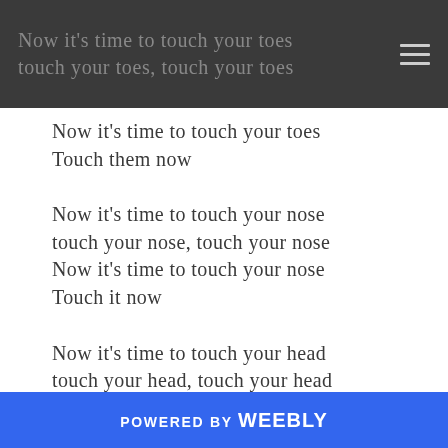Now it's time to touch your toes
touch your toes, touch your toes
Now it's time to touch your toes
Touch them now
Now it's time to touch your nose
touch your nose, touch your nose
Now it's time to touch your nose
Touch it now
Now it's time to touch your head
touch your head, touch your head
Now it's time to touch your head
Touch it now
Now it's time to wave goodbye
Wave goodbye, Wave goodbye
POWERED BY weebly